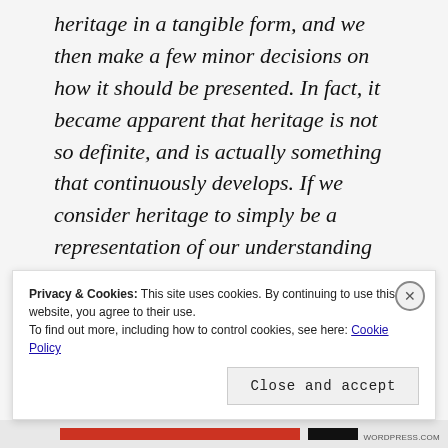heritage in a tangible form, and we then make a few minor decisions on how it should be presented. In fact, it became apparent that heritage is not so definite, and is actually something that continuously develops. If we consider heritage to simply be a representation of our understanding of the past,
Privacy & Cookies: This site uses cookies. By continuing to use this website, you agree to their use.
To find out more, including how to control cookies, see here: Cookie Policy
Close and accept